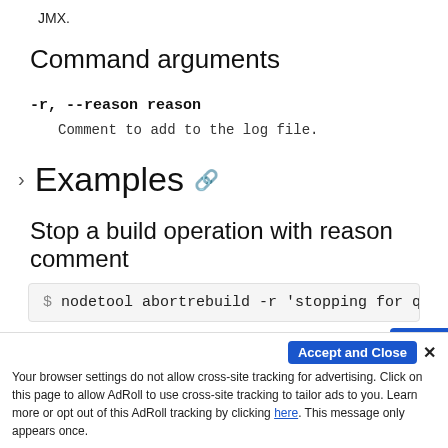JMX.
Command arguments
-r, --reason reason
Comment to add to the log file.
Examples
Stop a build operation with reason comment
$ nodetool abortrebuild -r 'stopping for qu
Accept and Close ✕
Your browser settings do not allow cross-site tracking for advertising. Click on this page to allow AdRoll to use cross-site tracking to tailor ads to you. Learn more or opt out of this AdRoll tracking by clicking here. This message only appears once.